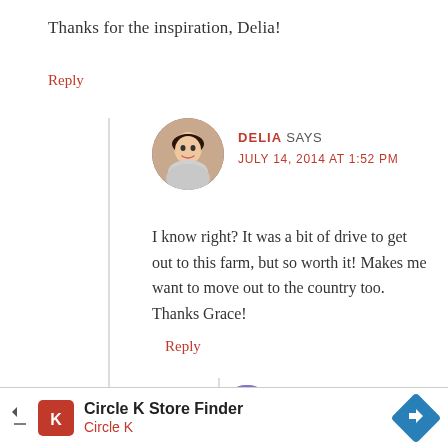Thanks for the inspiration, Delia!
Reply
DELIA SAYS
JULY 14, 2014 AT 1:52 PM
I know right? It was a bit of drive to get out to this farm, but so worth it! Makes me want to move out to the country too. Thanks Grace!
Reply
[Figure (photo): Circular avatar photo of Delia, a woman with dark hair]
[Figure (photo): Circular avatar of a second commenter, partially visible at bottom]
Circle K Store Finder
Circle K